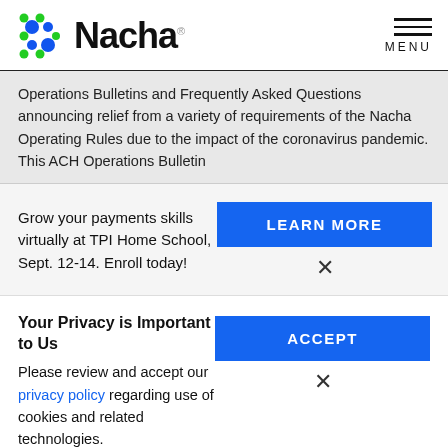Nacha
Operations Bulletins and Frequently Asked Questions announcing relief from a variety of requirements of the Nacha Operating Rules due to the impact of the coronavirus pandemic. This ACH Operations Bulletin
Grow your payments skills virtually at TPI Home School, Sept. 12-14. Enroll today!
LEARN MORE
Your Privacy is Important to Us
Please review and accept our privacy policy regarding use of cookies and related technologies.
ACCEPT